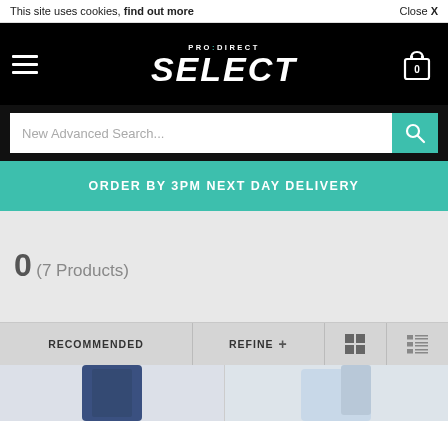This site uses cookies, find out more   Close X
[Figure (screenshot): Pro:Direct SELECT logo and navigation bar with hamburger menu on left, PRO:DIRECT SELECT logo in center, and shopping cart icon with 0 items on right, all on black background]
New Advanced Search...
ORDER BY 3PM NEXT DAY DELIVERY
0 (7 Products)
RECOMMENDED    REFINE +
[Figure (photo): Two product thumbnails showing sportswear/athletic clothing items]